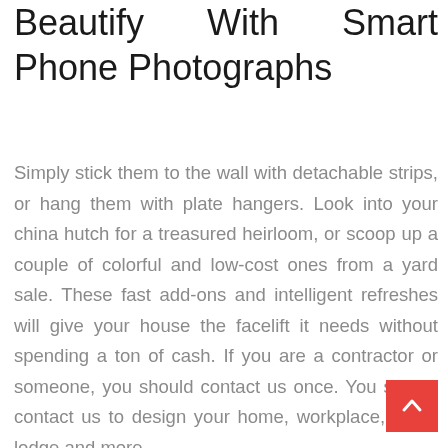Beautify With Smart Phone Photographs
Simply stick them to the wall with detachable strips, or hang them with plate hangers. Look into your china hutch for a treasured heirloom, or scoop up a couple of colorful and low-cost ones from a yard sale. These fast add-ons and intelligent refreshes will give your house the facelift it needs without spending a ton of cash. If you are a contractor or someone, you should contact us once. You should contact us to design your home, workplace, shop, lodge and more.
Appliances, together with a gasoline